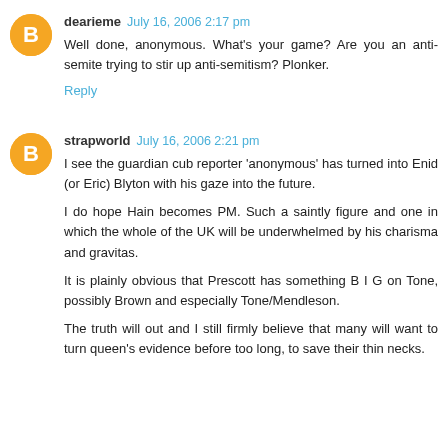[Figure (illustration): Orange circular blogger avatar icon with white 'B' letter for user dearieme]
dearieme July 16, 2006 2:17 pm
Well done, anonymous. What's your game? Are you an anti-semite trying to stir up anti-semitism? Plonker.
Reply
[Figure (illustration): Orange circular blogger avatar icon with white 'B' letter for user strapworld]
strapworld July 16, 2006 2:21 pm
I see the guardian cub reporter 'anonymous' has turned into Enid (or Eric) Blyton with his gaze into the future.
I do hope Hain becomes PM. Such a saintly figure and one in which the whole of the UK will be underwhelmed by his charisma and gravitas.
It is plainly obvious that Prescott has something B I G on Tone, possibly Brown and especially Tone/Mendleson.
The truth will out and I still firmly believe that many will want to turn queen's evidence before too long, to save their thin necks.